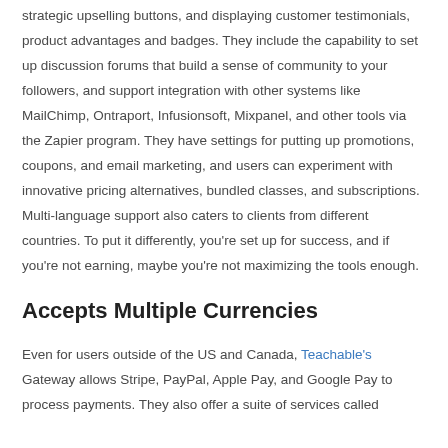strategic upselling buttons, and displaying customer testimonials, product advantages and badges. They include the capability to set up discussion forums that build a sense of community to your followers, and support integration with other systems like MailChimp, Ontraport, Infusionsoft, Mixpanel, and other tools via the Zapier program. They have settings for putting up promotions, coupons, and email marketing, and users can experiment with innovative pricing alternatives, bundled classes, and subscriptions. Multi-language support also caters to clients from different countries. To put it differently, you're set up for success, and if you're not earning, maybe you're not maximizing the tools enough.
Accepts Multiple Currencies
Even for users outside of the US and Canada, Teachable's Gateway allows Stripe, PayPal, Apple Pay, and Google Pay to process payments. They also offer a suite of services called